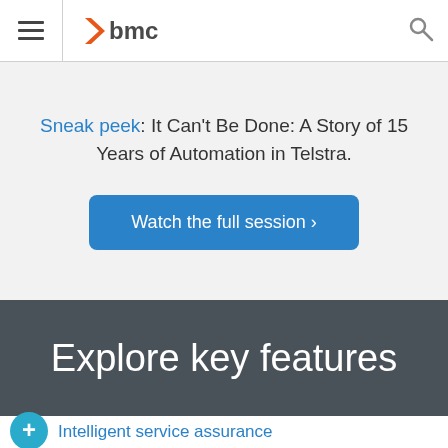BMC logo header with hamburger menu and search icon
Sneak peek: It Can't Be Done: A Story of 15 Years of Automation in Telstra.
Watch the full session ›
Explore key features
Intelligent service assurance